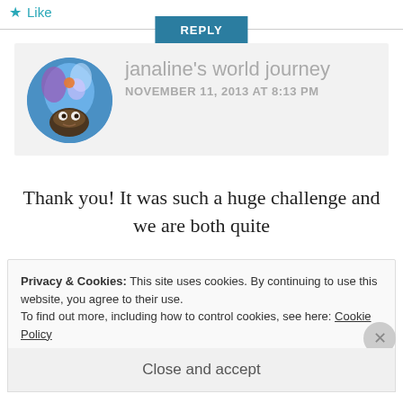Like
REPLY
janaline's world journey NOVEMBER 11, 2013 AT 8:13 PM
Thank you! It was such a huge challenge and we are both quite
Privacy & Cookies: This site uses cookies. By continuing to use this website, you agree to their use.
To find out more, including how to control cookies, see here: Cookie Policy
Close and accept